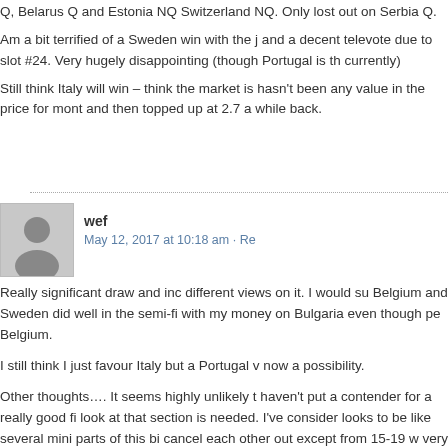Q, Belarus Q and Estonia NQ Switzerland NQ. Only lost out on Serbia Q.
Am a bit terrified of a Sweden win with the j and a decent televote due to slot #24. Very hugely disappointing (though Portugal is th currently)
Still think Italy will win – think the market is hasn't been any value in the price for mont and then topped up at 2.7 a while back.
wef
May 12, 2017 at 10:18 am · Re
Really significant draw and inc different views on it. I would su Belgium and Sweden did well in the semi-fi with my money on Bulgaria even though pe Belgium.
I still think I just favour Italy but a Portugal v now a possibility.
Other thoughts…. It seems highly unlikely t haven't put a contender for a really good fi look at that section is needed. I've consider looks to be like several mini parts of this bi cancel each other out except from 15-19 w very good all round package and that is the